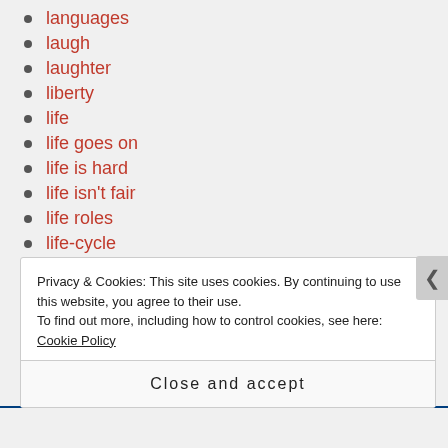languages
laugh
laughter
liberty
life
life goes on
life is hard
life isn't fair
life roles
life-cycle
lifegiver
lifegivers
Privacy & Cookies: This site uses cookies. By continuing to use this website, you agree to their use. To find out more, including how to control cookies, see here: Cookie Policy
Close and accept